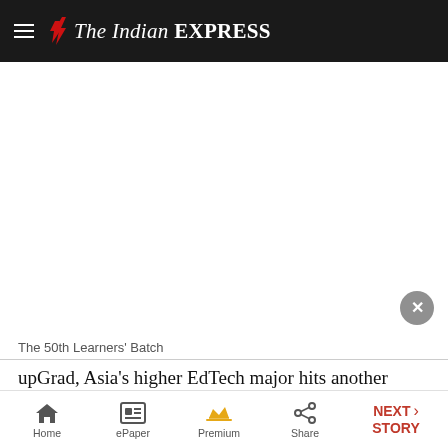The Indian EXPRESS
[Figure (other): Advertisement / white space area with a close (X) button in the bottom-right corner]
The 50th Learners' Batch
upGrad, Asia's higher EdTech major hits another milestone of the year as it announces the 50th cohort launch of its Advanced Certificate in Digital Marketing and
Home | ePaper | Premium | Share | NEXT STORY